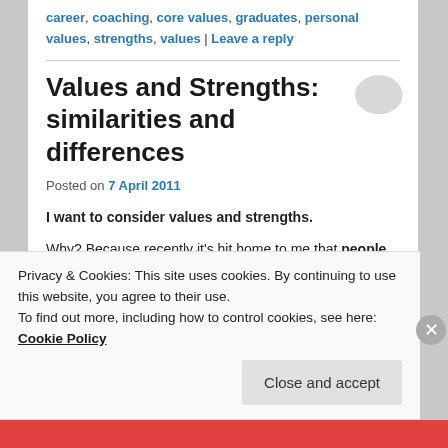career, coaching, core values, graduates, personal values, strengths, values | Leave a reply
Values and Strengths: similarities and differences
Posted on 7 April 2011
I want to consider values and strengths.
Why? Because recently it's hit home to me that people
Privacy & Cookies: This site uses cookies. By continuing to use this website, you agree to their use. To find out more, including how to control cookies, see here: Cookie Policy
Close and accept